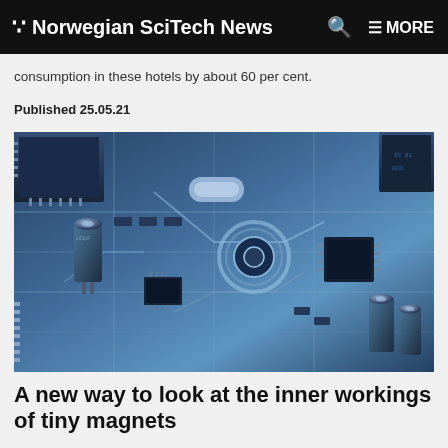Norwegian SciTech News  MORE
consumption in these hotels by about 60 per cent.
Published 25.05.21
[Figure (photo): Close-up photograph of a blue-tinted electronic circuit board with capacitors, microchips, integrated circuits, and PCB traces visible in detail.]
A new way to look at the inner workings of tiny magnets